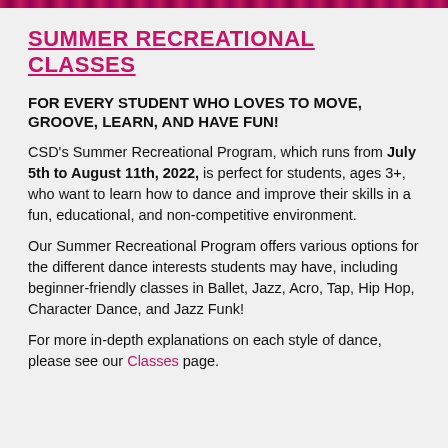SUMMER RECREATIONAL CLASSES
FOR EVERY STUDENT WHO LOVES TO MOVE, GROOVE, LEARN, AND HAVE FUN!
CSD's Summer Recreational Program, which runs from July 5th to August 11th, 2022, is perfect for students, ages 3+, who want to learn how to dance and improve their skills in a fun, educational, and non-competitive environment.
Our Summer Recreational Program offers various options for the different dance interests students may have, including beginner-friendly classes in Ballet, Jazz, Acro, Tap, Hip Hop, Character Dance, and Jazz Funk!
For more in-depth explanations on each style of dance, please see our Classes page.